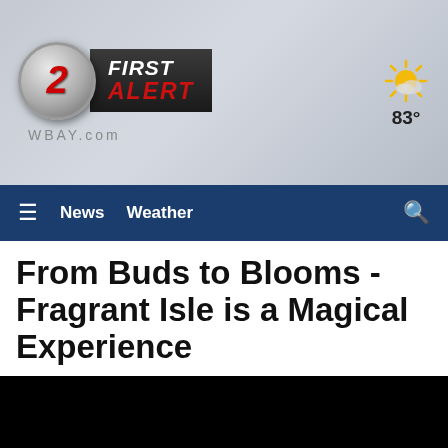[Figure (logo): WBAY 2 First Alert logo with 'FIRST ALERT' text and WBAY.com below]
[Figure (infographic): Weather widget showing sunny icon and temperature 83°]
≡ News Weather 🔍
From Buds to Blooms - Fragrant Isle is a Magical Experience
[Figure (photo): Black video/image area below article title]